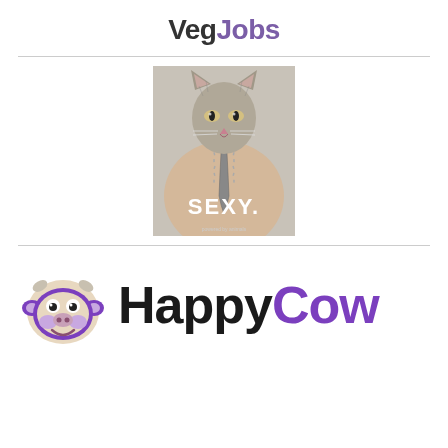VegJobs
[Figure (illustration): Ad image showing a human torso with a lynx/wildcat head, a zipper unzipping down the chest, with text 'SEXY.' in white — an animal rights/vegan advocacy advertisement]
[Figure (logo): HappyCow logo — cartoon purple cow face with horns beside bold text 'Happy' in black and 'Cow' in purple]